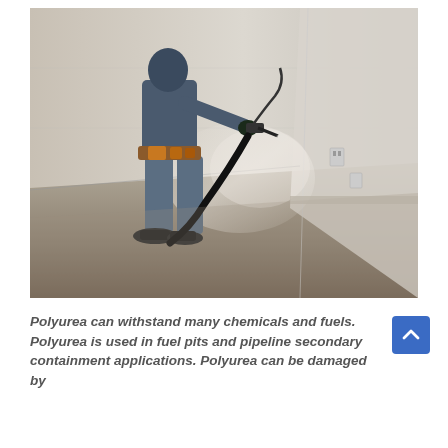[Figure (photo): A worker in blue clothing and a tool belt spraying polyurea coating on a concrete floor inside a building, with white plastic sheeting covering the walls in the background.]
Polyurea can withstand many chemicals and fuels. Polyurea is used in fuel pits and pipeline secondary containment applications. Polyurea can be damaged by